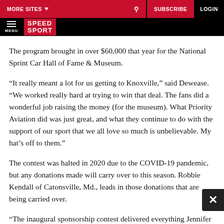MORE SITES | SUBSCRIBE | LOGIN | SPEED SPORT | MENU
The program brought in over $60,000 that year for the National Sprint Car Hall of Fame & Museum.
“It really meant a lot for us getting to Knoxville,” said Dewease. “We worked really hard at trying to win that deal. The fans did a wonderful job raising the money (for the museum). What Priority Aviation did was just great, and what they continue to do with the support of our sport that we all love so much is unbelievable. My hat’s off to them.”
The contest was halted in 2020 due to the COVID-19 pandemic, but any donations made will carry over to this season. Robbie Kendall of Catonsville, Md., leads in those donations that are being carried over.
“The inaugural sponsorship contest delivered everything Jennifer and I hoped for and more: from the phenomenal driver-fan engagement to the creative and suspenseful competition,” said